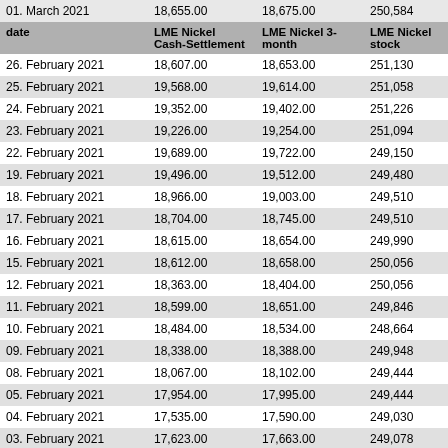| date | LME Nickel Cash-Settlement | LME Nickel 3-month | LME Nickel stock |
| --- | --- | --- | --- |
| 01. March 2021 | 18,655.00 | 18,675.00 | 250,584 |
| 26. February 2021 | 18,607.00 | 18,653.00 | 251,130 |
| 25. February 2021 | 19,568.00 | 19,614.00 | 251,058 |
| 24. February 2021 | 19,352.00 | 19,402.00 | 251,226 |
| 23. February 2021 | 19,226.00 | 19,254.00 | 251,094 |
| 22. February 2021 | 19,689.00 | 19,722.00 | 249,150 |
| 19. February 2021 | 19,496.00 | 19,512.00 | 249,480 |
| 18. February 2021 | 18,966.00 | 19,003.00 | 249,510 |
| 17. February 2021 | 18,704.00 | 18,745.00 | 249,510 |
| 16. February 2021 | 18,615.00 | 18,654.00 | 249,990 |
| 15. February 2021 | 18,612.00 | 18,658.00 | 250,056 |
| 12. February 2021 | 18,363.00 | 18,404.00 | 250,056 |
| 11. February 2021 | 18,599.00 | 18,651.00 | 249,846 |
| 10. February 2021 | 18,484.00 | 18,534.00 | 248,664 |
| 09. February 2021 | 18,338.00 | 18,388.00 | 249,948 |
| 08. February 2021 | 18,067.00 | 18,102.00 | 249,444 |
| 05. February 2021 | 17,954.00 | 17,995.00 | 249,444 |
| 04. February 2021 | 17,535.00 | 17,590.00 | 249,030 |
| 03. February 2021 | 17,623.00 | 17,663.00 | 249,078 |
| 02. February 2021 | 17,756.00 | 17,807.00 | 249,102 |
| 01. February 2021 | 17,807.00 | 17,855.00 | 248,856 |
| date | LME Nickel Cash-Settlement | LME Nickel 3-month | LME Nickel stock |